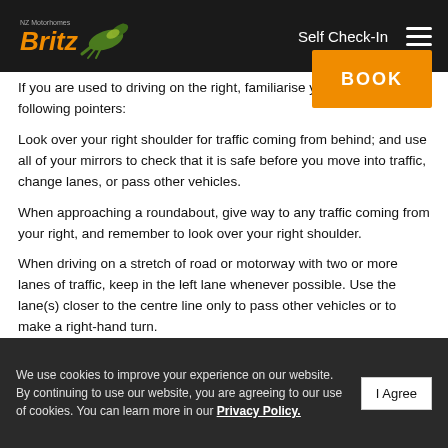Britz NZ — Self Check-In | BOOK
If you are used to driving on the right, familiarise yourself with the following pointers:
Look over your right shoulder for traffic coming from behind; and use all of your mirrors to check that it is safe before you move into traffic, change lanes, or pass other vehicles.
When approaching a roundabout, give way to any traffic coming from your right, and remember to look over your right shoulder.
When driving on a stretch of road or motorway with two or more lanes of traffic, keep in the left lane whenever possible. Use the lane(s) closer to the centre line only to pass other vehicles or to make a right-hand turn.
We use cookies to improve your experience on our website. By continuing to use our website, you are agreeing to our use of cookies. You can learn more in our Privacy Policy. | I Agree